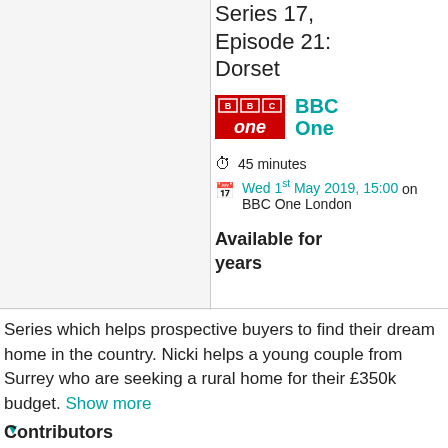Series 17, Episode 21: Dorset
[Figure (logo): BBC One channel logo — red background with BBC boxes and 'one' text in white]
BBC One
45 minutes
Wed 1st May 2019, 15:00 on BBC One London
Available for years
Series which helps prospective buyers to find their dream home in the country. Nicki helps a young couple from Surrey who are seeking a rural home for their £350k budget. Show more ▼
Contributors